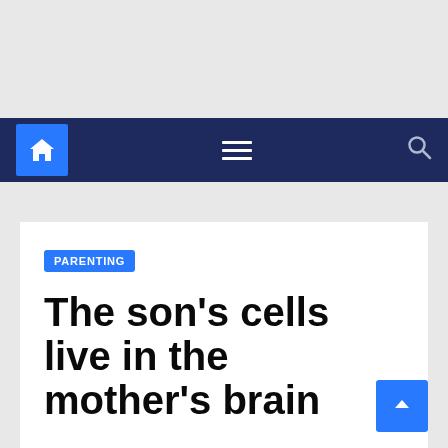Navigation bar with home, menu, and search icons
PARENTING
The son's cells live in the mother's brain